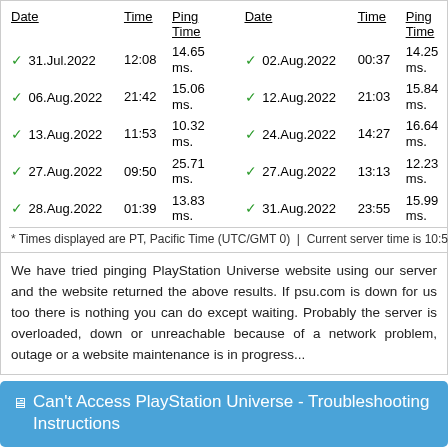| Date | Time | Ping Time | Date | Time | Ping Time |
| --- | --- | --- | --- | --- | --- |
| ✓ 31.Jul.2022 | 12:08 | 14.65 ms. | ✓ 02.Aug.2022 | 00:37 | 14.25 ms. |
| ✓ 06.Aug.2022 | 21:42 | 15.06 ms. | ✓ 12.Aug.2022 | 21:03 | 15.84 ms. |
| ✓ 13.Aug.2022 | 11:53 | 10.32 ms. | ✓ 24.Aug.2022 | 14:27 | 16.64 ms. |
| ✓ 27.Aug.2022 | 09:50 | 25.71 ms. | ✓ 27.Aug.2022 | 13:13 | 12.23 ms. |
| ✓ 28.Aug.2022 | 01:39 | 13.83 ms. | ✓ 31.Aug.2022 | 23:55 | 15.99 ms. |
* Times displayed are PT, Pacific Time (UTC/GMT 0)  |  Current server time is 10:50
We have tried pinging PlayStation Universe website using our server and the website returned the above results. If psu.com is down for us too there is nothing you can do except waiting. Probably the server is overloaded, down or unreachable because of a network problem, outage or a website maintenance is in progress...
Can't Access PlayStation Universe - Troubleshooting Instructions
If the site is UP but you cant access the page, try one of the below solutions:
Browser Related Problems